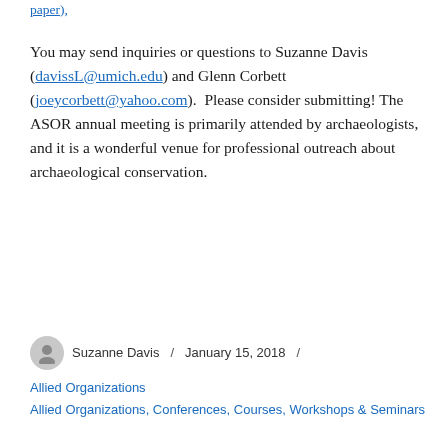paper),
You may send inquiries or questions to Suzanne Davis (davissL@umich.edu) and Glenn Corbett (joeycorbett@yahoo.com).  Please consider submitting! The ASOR annual meeting is primarily attended by archaeologists, and it is a wonderful venue for professional outreach about archaeological conservation.
Suzanne Davis / January 15, 2018 / Allied Organizations, Conferences, Courses, Workshops & Seminars